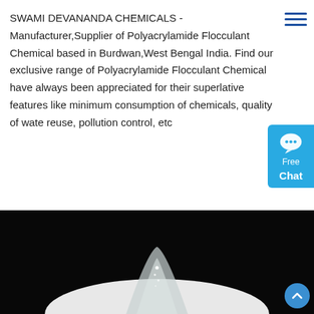SWAMI DEVANANDA CHEMICALS - Manufacturer,Supplier of Polyacrylamide Flocculant Chemical based in Burdwan,West Bengal India. Find our exclusive range of Polyacrylamide Flocculant Chemical have always been appreciated for their superlative features like minimum consumption of chemicals, quality of water reuse, pollution control, etc
[Figure (other): Blue chat widget button with speech bubble icon, 'Free Chat' text]
[Figure (other): Dark blue 'Get Price' button with rounded corners]
[Figure (photo): Black and white close-up photograph of a white powdery/granular chemical substance (Polyacrylamide Flocculant) with a dark background]